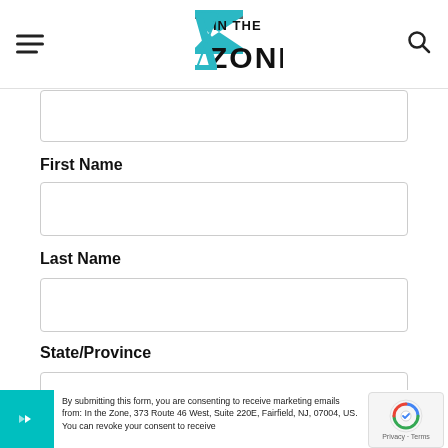In the Zone - navigation header with hamburger menu and search icon
(partial input field above First Name)
First Name
(First Name input field)
Last Name
(Last Name input field)
State/Province
(State/Province input field)
By submitting this form, you are consenting to receive marketing emails from: In the Zone, 373 Route 46 West, Suite 220E, Fairfield, NJ, 07004, US. You can revoke your consent to receive